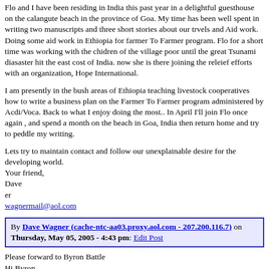Flo and I have been residing in India this past year in a delightful guesthouse on the calangute beach in the province of Goa. My time has been well spent in writing two manuscripts and three short stories about our trvels and Aid work. Doing some aid work in Ethiopia for farmer To Farmer program. Flo for a short time was working with the chidren of the village poor until the great Tsunami diasaster hit the east cost of India. now she is there joining the releief efforts with an organization, Hope International.
I am presently in the bush areas of Ethiopia teaching livestock cooperatives how to write a business plan on the Farmer To Farmer program administered by Acdi/Voca. Back to what I enjoy doing the most.. In April I'll join Flo once again , and spend a month on the beach in Goa, India then return home and try to peddle my writing.
Lets try to maintain contact and follow our unexplainable desire for the developing world.
Your friend,
Dave
er
wagnermail@aol.com
By Dave Wagner (cache-ntc-aa03.proxy.aol.com - 207.200.116.7) on Thursday, May 05, 2005 - 4:43 pm: Edit Post
Please forward to Byron Battle
Hi Byron,
I feel like Bull Dog Druman one of the great detecives of our days finding you as...